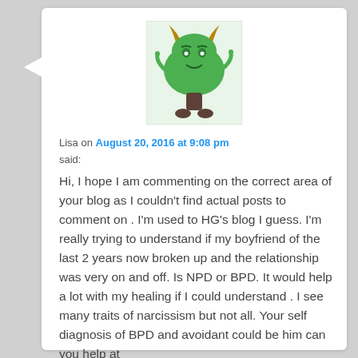[Figure (illustration): Green cartoon monster/troll avatar with horns, smiling face, and brown tree-trunk legs on a light green background]
Lisa on August 20, 2016 at 9:08 pm
said:
Hi, I hope I am commenting on the correct area of your blog as I couldn't find actual posts to comment on . I'm used to HG's blog I guess. I'm really trying to understand if my boyfriend of the last 2 years now broken up and the relationship was very on and off. Is NPD or BPD. It would help a lot with my healing if I could understand . I see many traits of narcissism but not all. Your self diagnosis of BPD and avoidant could be him can you help at